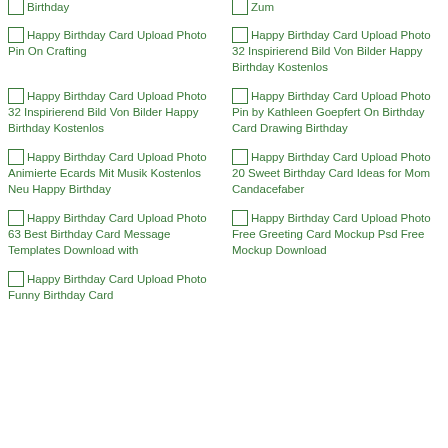[Figure (other): Happy Birthday Card Upload Photo Pin On Crafting]
[Figure (other): Happy Birthday Card Upload Photo 32 Inspirierend Bild Von Bilder Happy Birthday Kostenlos]
[Figure (other): Happy Birthday Card Upload Photo 32 Inspirierend Bild Von Bilder Happy Birthday Kostenlos]
[Figure (other): Happy Birthday Card Upload Photo Pin by Kathleen Goepfert On Birthday Card Drawing Birthday]
[Figure (other): Happy Birthday Card Upload Photo Animierte Ecards Mit Musik Kostenlos Neu Happy Birthday]
[Figure (other): Happy Birthday Card Upload Photo 20 Sweet Birthday Card Ideas for Mom Candacefaber]
[Figure (other): Happy Birthday Card Upload Photo 63 Best Birthday Card Message Templates Download with]
[Figure (other): Happy Birthday Card Upload Photo Free Greeting Card Mockup Psd Free Mockup Download]
[Figure (other): Happy Birthday Card Upload Photo Funny Birthday Card]